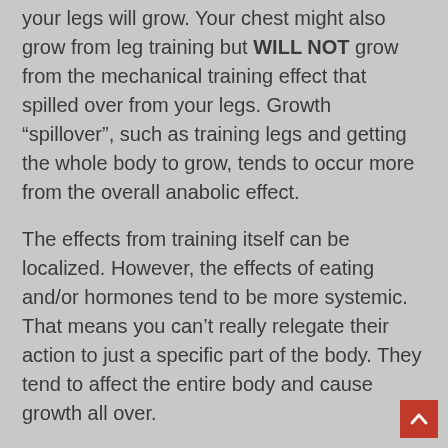your legs will grow. Your chest might also grow from leg training but WILL NOT grow from the mechanical training effect that spilled over from your legs. Growth “spillover”, such as training legs and getting the whole body to grow, tends to occur more from the overall anabolic effect.
The effects from training itself can be localized. However, the effects of eating and/or hormones tend to be more systemic. That means you can’t really relegate their action to just a specific part of the body. They tend to affect the entire body and cause growth all over.
In other words, if you take a sedentary person and overfeed him for 2 weeks he’ll probably gain a few pounds of muscle mass and a few pounds of fat. That muscle will tend to be distributed over the entire body not just in one area. If you give that same person steroid injections he w